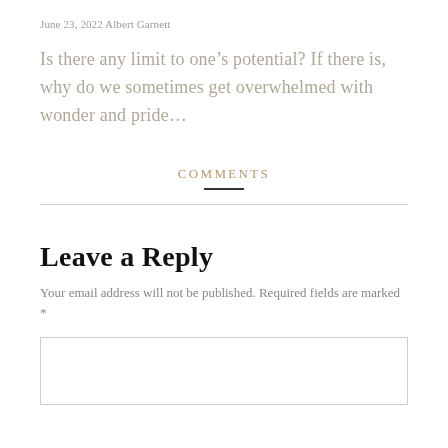June 23, 2022 Albert Garnett
Is there any limit to one’s potential? If there is, why do we sometimes get overwhelmed with wonder and pride…
COMMENTS
Leave a Reply
Your email address will not be published. Required fields are marked *